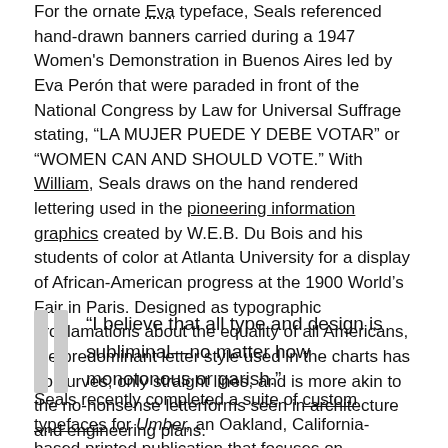For the ornate Eva typeface, Seals referenced hand-drawn banners carried during a 1947 Women's Demonstration in Buenos Aires led by Eva Perón that were paraded in front of the National Congress by Law for Universal Suffrage stating, "LA MUJER PUEDE Y DEBE VOTAR" or "WOMEN CAN AND SHOULD VOTE." With William, Seals draws on the hand rendered lettering used in the pioneering information graphics created by W.E.B. Du Bois and his students of color at Atlanta University for a display of African-American progress at the 1900 World's Fair in Paris. Designed as typographic proclamations about the equality of all Americans, the predominant letter style used in the charts has no curves, only straight lines, and is more akin to the no-nonsense letterforms seen in architecture and engineering plans.
“I believe that all type and design is subliminal—no matter how monotonous or garish.”
Seals recently completed a suite of custom typefaces for Umber, an Oakland, California-based printed publication that focuses on